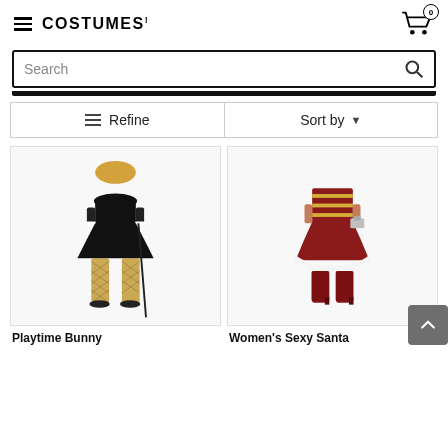COSTUMES! (logo) | Cart: 0
Search
Refine | Sort by
[Figure (photo): Woman wearing a black strapless mini dress with fishnet stockings and holding a cane — Playtime Bunny costume]
[Figure (photo): Woman wearing a red and gold velvet Santa mini dress with white fur trim and red boots — Women's Sexy Santa costume]
Playtime Bunny
Women's Sexy Santa